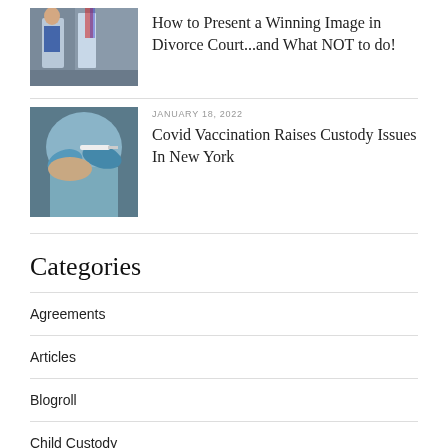[Figure (photo): Person in suit standing in a courtroom with an American flag in the background]
How to Present a Winning Image in Divorce Court...and What NOT to do!
[Figure (photo): Medical professional administering a vaccine injection to a patient's arm, wearing blue gloves]
JANUARY 18, 2022
Covid Vaccination Raises Custody Issues In New York
Categories
Agreements
Articles
Blogroll
Child Custody